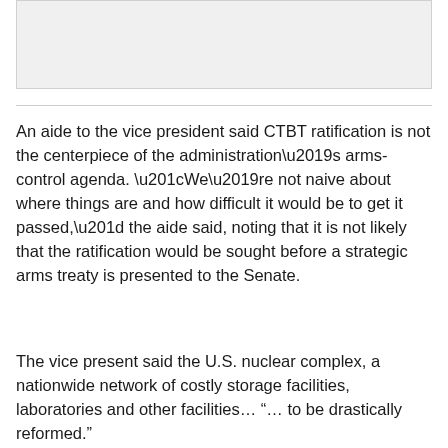[Figure (other): Gray image placeholder area at top of page]
An aide to the vice president said CTBT ratification is not the centerpiece of the administration’s arms-control agenda. “We’re not naive about where things are and how difficult it would be to get it passed,” the aide said, noting that it is not likely that the ratification would be sought before a strategic arms treaty is presented to the Senate.
The vice present said the U.S. nuclear complex, a nationwide network of costly storage facilities, laboratories and other facilities… “… to be drastically reformed.”